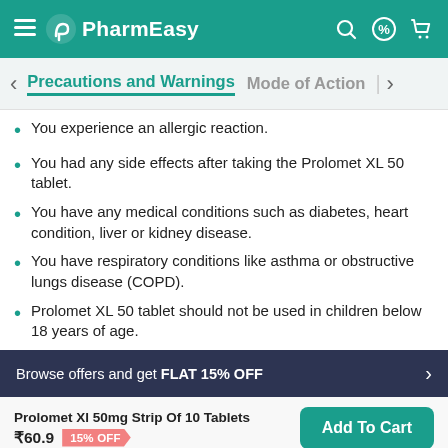PharmEasy
Precautions and Warnings | Mode of Action
You experience an allergic reaction.
You had any side effects after taking the Prolomet XL 50 tablet.
You have any medical conditions such as diabetes, heart condition, liver or kidney disease.
You have respiratory conditions like asthma or obstructive lungs disease (COPD).
Prolomet XL 50 tablet should not be used in children below 18 years of age.
Browse offers and get FLAT 15% OFF
Prolomet Xl 50mg Strip Of 10 Tablets ₹60.9 15% OFF Add To Cart